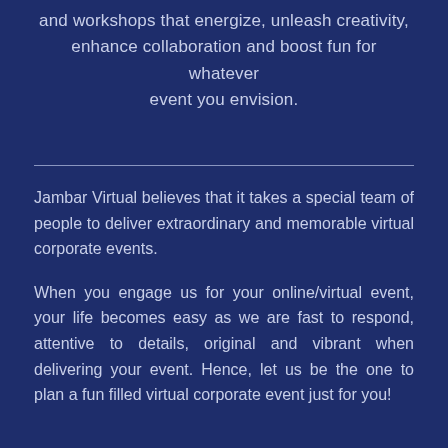and workshops that energize, unleash creativity, enhance collaboration and boost fun for whatever event you envision.
Jambar Virtual believes that it takes a special team of people to deliver extraordinary and memorable virtual corporate events.
When you engage us for your online/virtual event, your life becomes easy as we are fast to respond, attentive to details, original and vibrant when delivering your event. Hence, let us be the one to plan a fun filled virtual corporate event just for you!